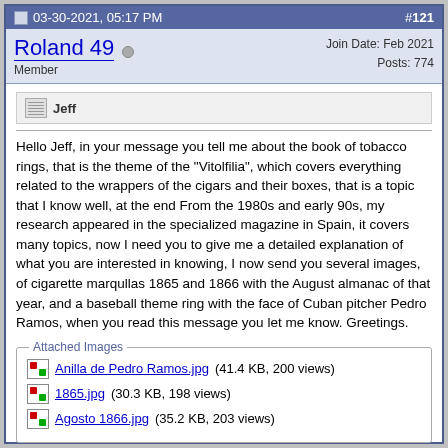03-30-2021, 05:17 PM   #121
Roland 49  Member   Join Date: Feb 2021  Posts: 774
Jeff
Hello Jeff, in your message you tell me about the book of tobacco rings, that is the theme of the "Vitolfilia", which covers everything related to the wrappers of the cigars and their boxes, that is a topic that I know well, at the end From the 1980s and early 90s, my research appeared in the specialized magazine in Spain, it covers many topics, now I need you to give me a detailed explanation of what you are interested in knowing, I now send you several images, of cigarette marqullas 1865 and 1866 with the August almanac of that year, and a baseball theme ring with the face of Cuban pitcher Pedro Ramos, when you read this message you let me know. Greetings.
Attached Images
Anilla de Pedro Ramos.jpg (41.4 KB, 200 views)
1865.jpg (30.3 KB, 198 views)
Agosto 1866.jpg (35.2 KB, 203 views)